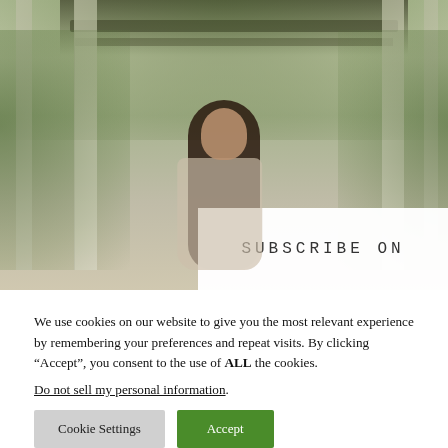[Figure (photo): A woman with long dark hair smiling under a garden pergola with climbing plants and white columns, viewed from a path leading through the structure.]
SUBSCRIBE ON
We use cookies on our website to give you the most relevant experience by remembering your preferences and repeat visits. By clicking “Accept”, you consent to the use of ALL the cookies.
Do not sell my personal information.
Cookie Settings
Accept